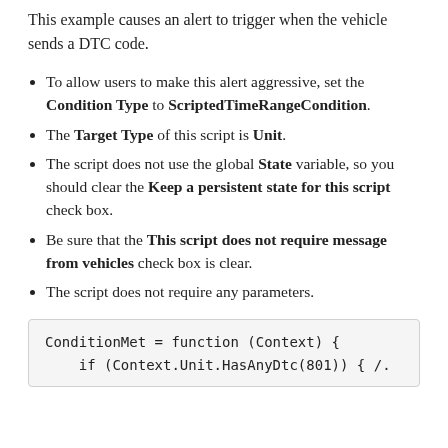This example causes an alert to trigger when the vehicle sends a DTC code.
To allow users to make this alert aggressive, set the Condition Type to ScriptedTimeRangeCondition.
The Target Type of this script is Unit.
The script does not use the global State variable, so you should clear the Keep a persistent state for this script check box.
Be sure that the This script does not require message from vehicles check box is clear.
The script does not require any parameters.
ConditionMet = function (Context) {
    if (Context.Unit.HasAnyDtc(801)) { /...